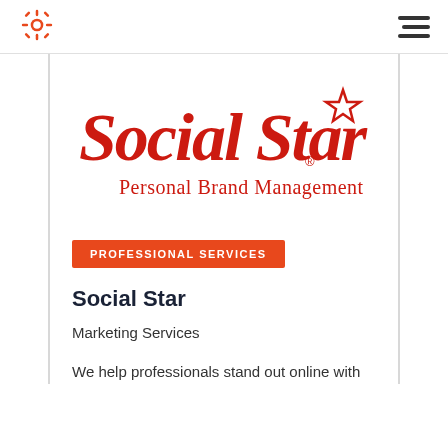[Figure (logo): HubSpot sprocket logo in orange, top left of header navigation bar]
[Figure (logo): Social Star - Personal Brand Management logo in red script with star icon]
PROFESSIONAL SERVICES
Social Star
Marketing Services
We help professionals stand out online with